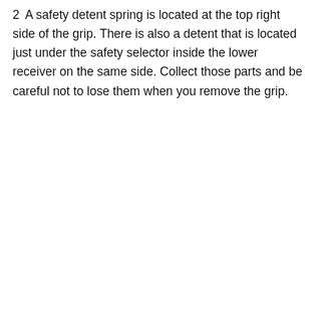2   A safety detent spring is located at the top right side of the grip. There is also a detent that is located just under the safety selector inside the lower receiver on the same side. Collect those parts and be careful not to lose them when you remove the grip.
[Figure (screenshot): Ammo in-stock advertisement showing two products: '9mm CCI Bulk Pack 115gr FMJ 1000 Rounds $379.99' and '9mm Luger Fiocchi 115... $36...' with a video error overlay reading 'FAST DRILL: CAR= / Uh oh, something went wrong' with playback controls showing 0:00]